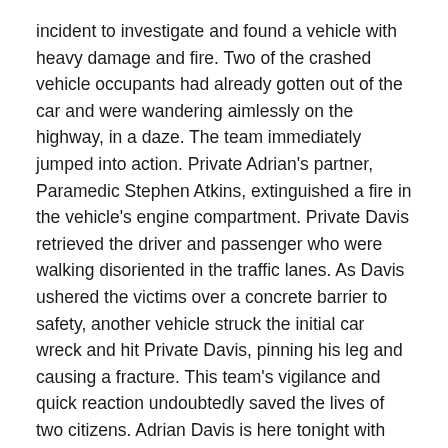incident to investigate and found a vehicle with heavy damage and fire. Two of the crashed vehicle occupants had already gotten out of the car and were wandering aimlessly on the highway, in a daze. The team immediately jumped into action. Private Adrian's partner, Paramedic Stephen Atkins, extinguished a fire in the vehicle's engine compartment. Private Davis retrieved the driver and passenger who were walking disoriented in the traffic lanes. As Davis ushered the victims over a concrete barrier to safety, another vehicle struck the initial car wreck and hit Private Davis, pinning his leg and causing a fracture. This team's vigilance and quick reaction undoubtedly saved the lives of two citizens. Adrian Davis is here tonight with his girlfriend, Kenyata West, and his sisters Ayanna & Erica.
Jerome Turner: 2022 Winners